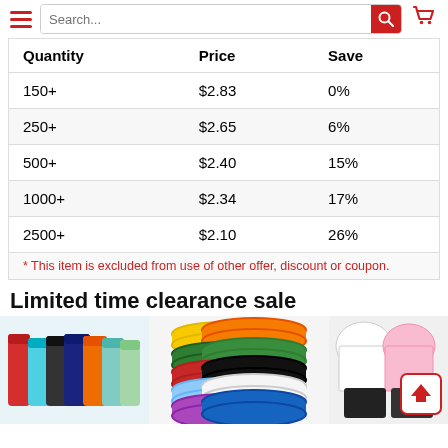Navigation bar with hamburger menu, search box, and cart icon
| Quantity | Price | Save |
| --- | --- | --- |
| 150+ | $2.83 | 0% |
| 250+ | $2.65 | 6% |
| 500+ | $2.40 | 15% |
| 1000+ | $2.34 | 17% |
| 2500+ | $2.10 | 26% |
* This item is excluded from use of other offer, discount or coupon.
Limited time clearance sale
[Figure (photo): Three clearance product photos: colorful tumblers, silicone wristbands, and women's skirt sets]